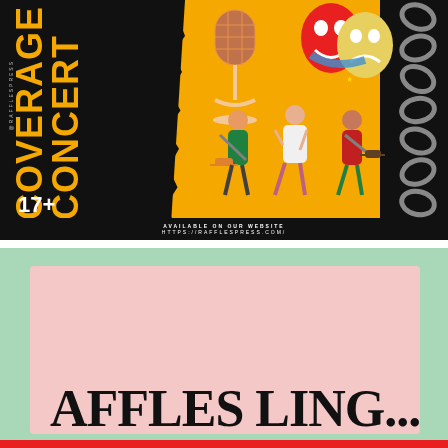[Figure (illustration): Concert Coverage promotional image with dark background, orange torn-paper effect, microphone, theater masks, band figures, chain on right side. Text reads 'CONCERT COVERAGE' vertically in orange, '@RAFFLESPRESS' sideways, '17+', 'AVAILABLE ON OUR WEBSITE', 'HTTPS://RAFFLESPRESS.COM/']
[Figure (illustration): Raffles Ling promotional image with mint green background and pink inner rectangle, large handwritten-style black text reading 'AFFLES LING...' (partially cropped), red bar at bottom]